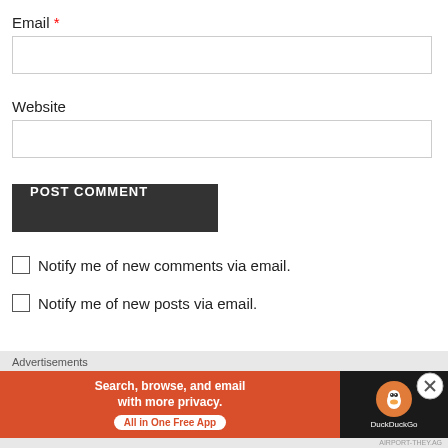Email *
Website
POST COMMENT
Notify me of new comments via email.
Notify me of new posts via email.
Advertisements
[Figure (screenshot): DuckDuckGo advertisement banner: orange left panel with text 'Search, browse, and email with more privacy. All in One Free App', dark right panel with DuckDuckGo logo and name.]